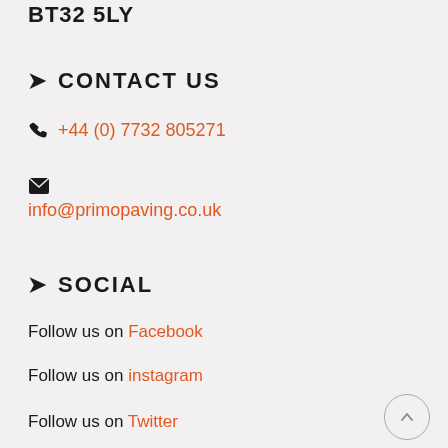BT32 5LY
CONTACT US
+44 (0) 7732 805271
info@primopaving.co.uk
SOCIAL
Follow us on Facebook
Follow us on instagram
Follow us on Twitter